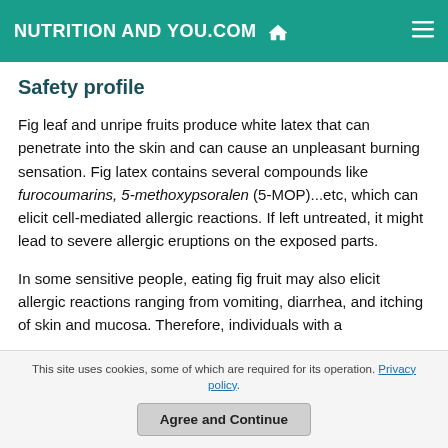NUTRITION AND YOU.COM
Safety profile
Fig leaf and unripe fruits produce white latex that can penetrate into the skin and can cause an unpleasant burning sensation. Fig latex contains several compounds like furocoumarins, 5-methoxypsoralen (5-MOP)...etc, which can elicit cell-mediated allergic reactions. If left untreated, it might lead to severe allergic eruptions on the exposed parts.
In some sensitive people, eating fig fruit may also elicit allergic reactions ranging from vomiting, diarrhea, and itching of skin and mucosa. Therefore, individuals with a
This site uses cookies, some of which are required for its operation. Privacy policy. Agree and Continue